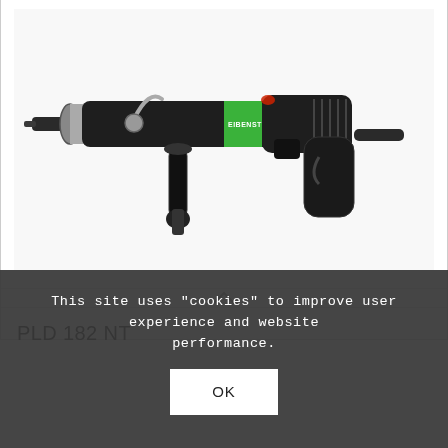[Figure (photo): Eibenstock PLD 182 NT diamond core drill motor — a black and green handheld power tool shown horizontally. Features include a cylindrical drill chuck on the left, water supply line, auxiliary handle, main grip with trigger, and ventilation grille on the motor housing. Brand name EIBENSTOCK visible on the green band.]
PLD 182 NT
This site uses "cookies" to improve user experience and website performance.
OK